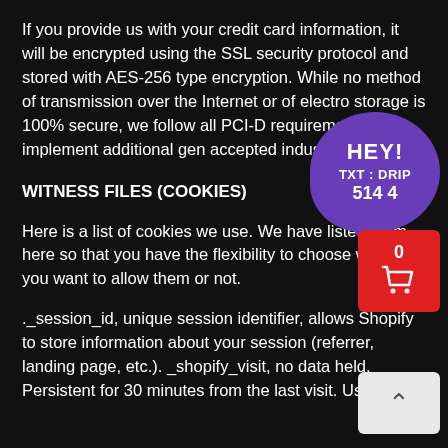If you provide us with your credit card information, it will be encrypted using the SSL security protocol and stored with AES-256 type encryption. While no method of transmission over the Internet or of electro storage is 100% secure, we follow all PCI-D requirements and implement additional gen accepted industry standards.
WITNESS FILES (COOKIES)
Here is a list of cookies we use. We have listed them here so that you have the flexibility to choose whether you want to allow them or not.
._session_id, unique session identifier, allows Shopify to store information about your session (referrer, landing page, etc.). _shopify_visit, no data held, Persistent for 30 minutes from the last visit. Used by
[Figure (infographic): Purple speech bubble overlay with text HEY! TXT : DRIP 514 4, with a red shopping cart button showing 0 items, and a light grey back-to-top arrow button]